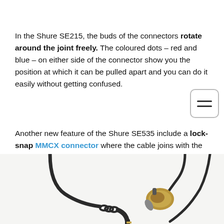In the Shure SE215, the buds of the connectors rotate around the joint freely. The coloured dots – red and blue – on either side of the connector show you the position at which it can be pulled apart and you can do it easily without getting confused.
Another new feature of the Shure SE535 include a lock-snap MMCX connector where the cable joins with the driver. You can rotate it freely. The driver units are flatter and smaller to fit into your ears better.
[Figure (photo): Photo of earphone cable with angled 3.5mm jack on the left and an in-ear earphone bud on the right, against a light background.]